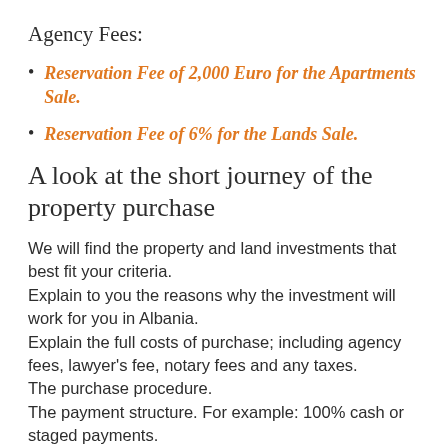Agency Fees:
Reservation Fee of 2,000 Euro for the Apartments Sale.
Reservation Fee of 6% for the Lands Sale.
A look at the short journey of the property purchase
We will find the property and land investments that best fit your criteria.
Explain to you the reasons why the investment will work for you in Albania.
Explain the full costs of purchase; including agency fees, lawyer’s fee, notary fees and any taxes.
The purchase procedure.
The payment structure. For example: 100% cash or staged payments.
Recommend local independent lawyers.